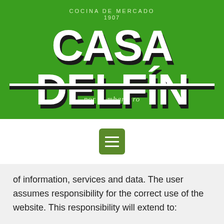[Figure (logo): Casa Delfín restaurant logo on green background. Text reads: COCINA DE MERCADO, 1907, CASA DELFÍN in large bold block letters, por Lombardero in italic script below.]
[Figure (other): Green hamburger/menu icon button (three horizontal white lines on green rounded square background)]
of information, services and data. The user assumes responsibility for the correct use of the website. This responsibility will extend to: